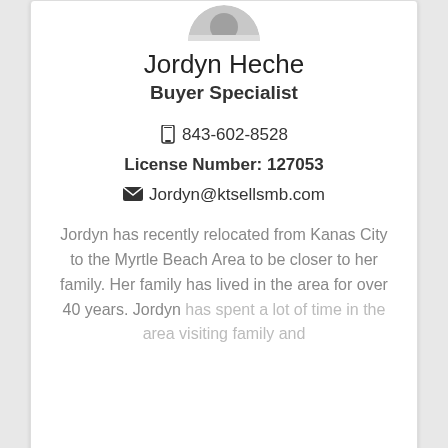[Figure (photo): Circular profile photo of Jordyn Heche (partially cropped at top)]
Jordyn Heche
Buyer Specialist
📱 843-602-8528
License Number: 127053
✉ Jordyn@ktsellsmb.com
Jordyn has recently relocated from Kanas City to the Myrtle Beach Area to be closer to her family. Her family has lived in the area for over 40 years. Jordyn has spent a lot of time in the area visiting family and
READ MORE
[Figure (photo): Circular profile photo of a woman with blonde hair, smiling, outdoors background]